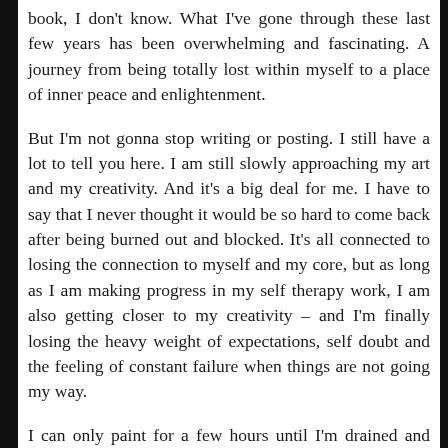book, I don't know. What I've gone through these last few years has been overwhelming and fascinating. A journey from being totally lost within myself to a place of inner peace and enlightenment.
But I'm not gonna stop writing or posting. I still have a lot to tell you here. I am still slowly approaching my art and my creativity. And it's a big deal for me. I have to say that I never thought it would be so hard to come back after being burned out and blocked. It's all connected to losing the connection to myself and my core, but as long as I am making progress in my self therapy work, I am also getting closer to my creativity – and I'm finally losing the heavy weight of expectations, self doubt and the feeling of constant failure when things are not going my way.
I can only paint for a few hours until I'm drained and tired. But it's OK. I've accepted it and surrendered to